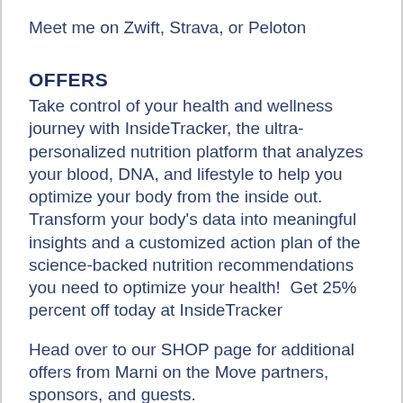Meet me on Zwift, Strava, or Peloton
OFFERS
Take control of your health and wellness journey with InsideTracker, the ultra-personalized nutrition platform that analyzes your blood, DNA, and lifestyle to help you optimize your body from the inside out. Transform your body’s data into meaningful insights and a customized action plan of the science-backed nutrition recommendations you need to optimize your health!  Get 25% percent off today at InsideTracker
Head over to our SHOP page for additional offers from Marni on the Move partners, sponsors, and guests.